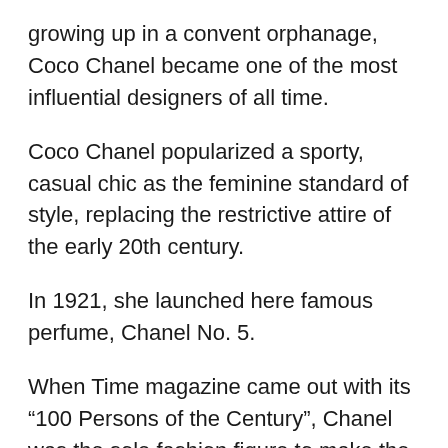growing up in a convent orphanage, Coco Chanel became one of the most influential designers of all time.
Coco Chanel popularized a sporty, casual chic as the feminine standard of style, replacing the restrictive attire of the early 20th century.
In 1921, she launched here famous perfume, Chanel No. 5.
When Time magazine came out with its “100 Persons of the Century”, Chanel was the sole fashion figure to make the list.